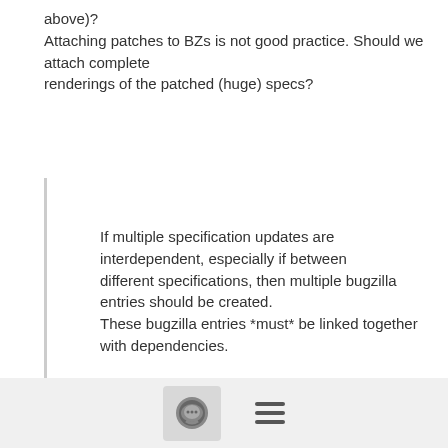above)?
Attaching patches to BZs is not good practice. Should we attach complete
renderings of the patched (huge) specs?
If multiple specification updates are interdependent, especially if between
different specifications, then multiple bugzilla entries should be created.
These bugzilla entries *must* be linked together with dependencies.

After the BZs have been created, new branches should be created in the relevant
repositories for each bugzilla - the branch names should be BZ####, where ####
describes the bugzilla ID assigned, optionally followed by -dd and something